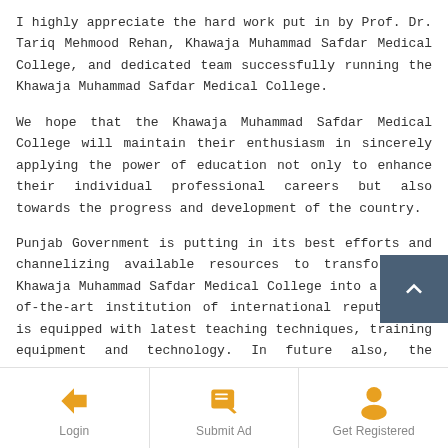I highly appreciate the hard work put in by Prof. Dr. Tariq Mehmood Rehan, Khawaja Muhammad Safdar Medical College, and dedicated team successfully running the Khawaja Muhammad Safdar Medical College.
We hope that the Khawaja Muhammad Safdar Medical College will maintain their enthusiasm in sincerely applying the power of education not only to enhance their individual professional careers but also towards the progress and development of the country.
Punjab Government is putting in its best efforts and channelizing available resources to transform the Khawaja Muhammad Safdar Medical College into a state-of-the-art institution of international repute that is equipped with latest teaching techniques, training equipment and technology. In future also, the provincial government will continue to extend its full support in